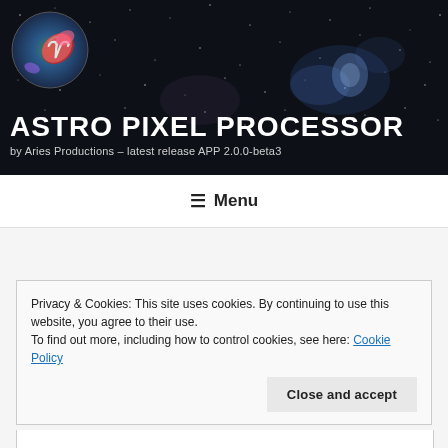[Figure (photo): Dark space/nebula background image with colorful Aries logo (circular globe with Aries symbol, galaxies and nebulae). Site header for Astro Pixel Processor website.]
ASTRO PIXEL PROCESSOR
by Aries Productions – latest release APP 2.0.0-beta3
≡ Menu
Privacy & Cookies: This site uses cookies. By continuing to use this website, you agree to their use.
To find out more, including how to control cookies, see here: Cookie Policy
Close and accept